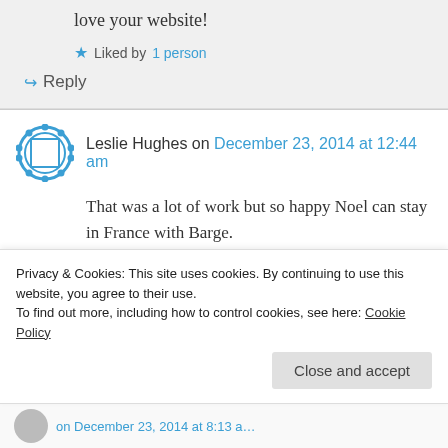love your website!
★ Liked by 1 person
↪ Reply
Leslie Hughes on December 23, 2014 at 12:44 am
That was a lot of work but so happy Noel can stay in France with Barge.
★ Liked by 1 person
Privacy & Cookies: This site uses cookies. By continuing to use this website, you agree to their use.
To find out more, including how to control cookies, see here: Cookie Policy
Close and accept